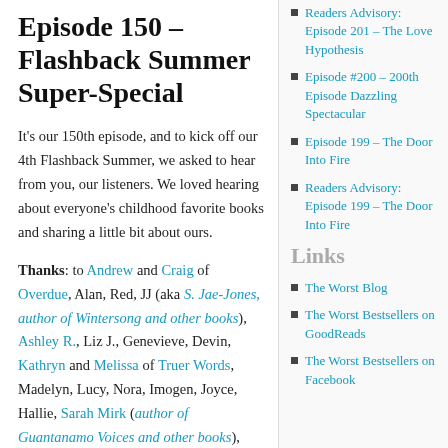Episode 150 – Flashback Summer Super-Special
It's our 150th episode, and to kick off our 4th Flashback Summer, we asked to hear from you, our listeners. We loved hearing about everyone's childhood favorite books and sharing a little bit about ours.
Thanks: to Andrew and Craig of Overdue, Alan, Red, JJ (aka S. Jae-Jones, author of Wintersong and other books), Ashley R., Liz J., Genevieve, Devin, Kathryn and Melissa of Truer Words, Madelyn, Lucy, Nora, Imogen, Joyce, Hallie, Sarah Mirk (author of Guantanamo Voices and other books), April, Megan, Ashley K., Meredith Goldstein (Love
Readers Advisory: Episode 201 – The Love Hypothesis
Episode #200 – 200th Episode Dazzling Spectacular
Episode 199 – The Door Into Fire
Readers Advisory: Episode 199 – The Door Into Fire
Links
The Worst Blog
The Worst Bestsellers on GoodReads
The Worst Bestsellers on Facebook